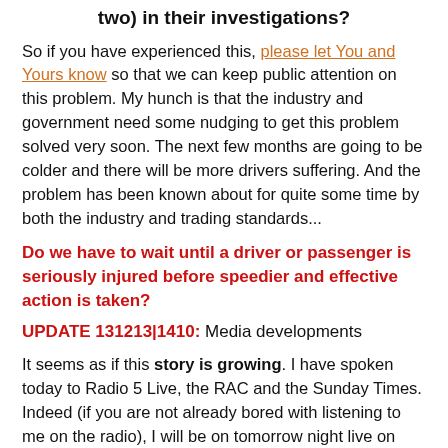two) in their investigations?
So if you have experienced this, please let You and Yours know so that we can keep public attention on this problem. My hunch is that the industry and government need some nudging to get this problem solved very soon. The next few months are going to be colder and there will be more drivers suffering. And the problem has been known about for quite some time by both the industry and trading standards...
Do we have to wait until a driver or passenger is seriously injured before speedier and effective action is taken?
UPDATE 131213|1410: Media developments
It seems as if this story is growing. I have spoken today to Radio 5 Live, the RAC and the Sunday Times. Indeed (if you are not already bored with listening to me on the radio), I will be on tomorrow night live on Radio 5 at around 21.45
But the thought has struck me: if the agencies involved in the research (and that includes the industry, government, RAC,